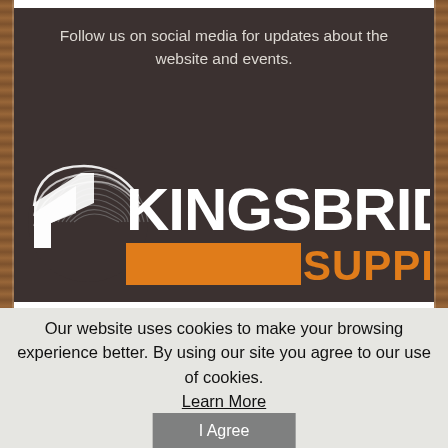Follow us on social media for updates about the website and events.
[Figure (logo): Kingsbridge Supply logo with wood grain circular graphic on left, white bold KINGSBRIDGE text, orange rectangle bar with orange SUPPLY text]
Our website uses cookies to make your browsing experience better. By using our site you agree to our use of cookies.
Learn More
I Agree